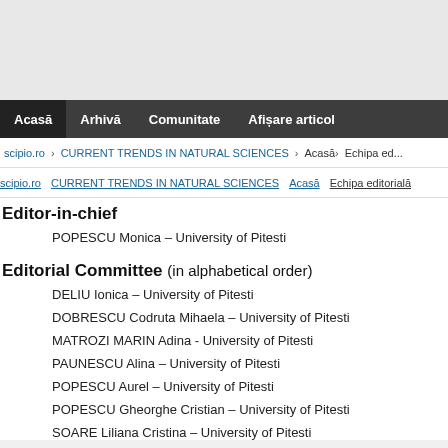Acasă | Arhivă | Comunitate | Afișare articol
scipio.ro > CURRENT TRENDS IN NATURAL SCIENCES > Acasă > Echipa ed...
scipio.ro > CURRENT TRENDS IN NATURAL SCIENCES > Acasă > Echipa editorială
Editor-in-chief
POPESCU Monica – University of Pitesti
Editorial Committee (in alphabetical order)
DELIU Ionica – University of Pitesti
DOBRESCU Codruta Mihaela – University of Pitesti
MATROZI MARIN Adina - University of Pitesti
PAUNESCU Alina – University of Pitesti
POPESCU Aurel – University of Pitesti
POPESCU Gheorghe Cristian – University of Pitesti
SOARE Liliana Cristina – University of Pitesti